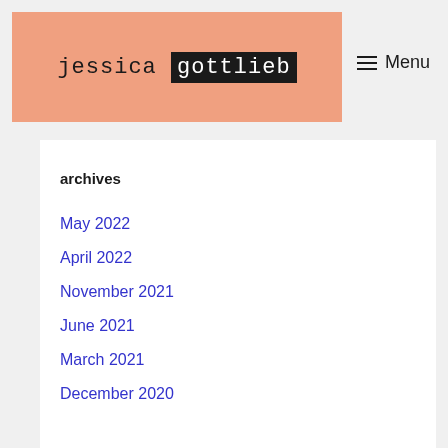jessica gottlieb
Menu
archives
May 2022
April 2022
November 2021
June 2021
March 2021
December 2020